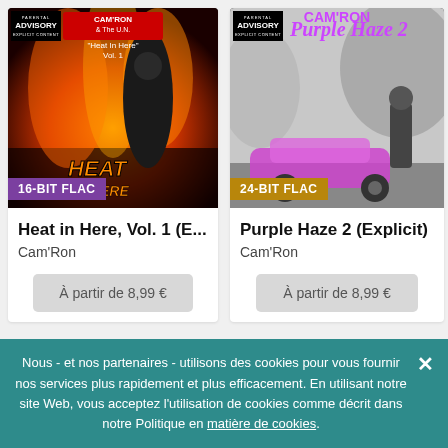[Figure (illustration): Album cover for Heat in Here Vol. 1 by Cam'Ron and The U.N. — fire background with masked figure, Parental Advisory label, 16-BIT FLAC badge]
Heat in Here, Vol. 1 (E...
Cam'Ron
À partir de 8,99 €
[Figure (illustration): Album cover for Purple Haze 2 (Explicit) by Cam'Ron — grayscale with pink car, figure standing, Parental Advisory label, 24-BIT FLAC badge]
Purple Haze 2 (Explicit)
Cam'Ron
À partir de 8,99 €
Nous - et nos partenaires - utilisons des cookies pour vous fournir nos services plus rapidement et plus efficacement. En utilisant notre site Web, vous acceptez l'utilisation de cookies comme décrit dans notre Politique en matière de cookies.